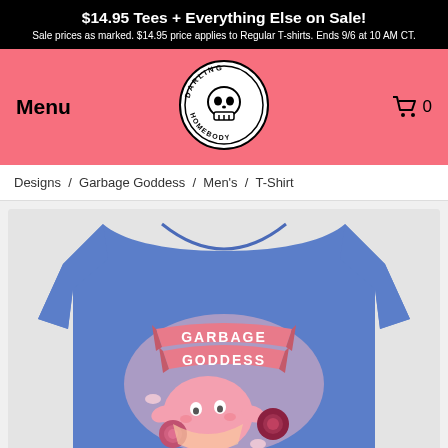$14.95 Tees + Everything Else on Sale! Sale prices as marked. $14.95 price applies to Regular T-shirts. Ends 9/6 at 10 AM CT.
[Figure (logo): Darling Homebody skull logo in a circular badge, white on black]
Menu
0
Designs  /  Garbage Goddess  /  Men's  /  T-Shirt
[Figure (photo): Blue heather t-shirt with a pink cartoon 'Garbage Goddess' graphic featuring a cute round character surrounded by roses and a ribbon banner]